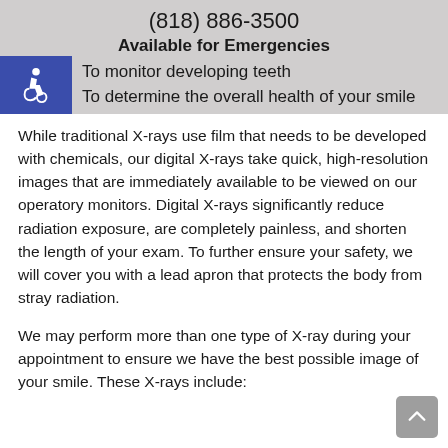(818) 886-3500
Available for Emergencies
To monitor developing teeth
To determine the overall health of your smile
While traditional X-rays use film that needs to be developed with chemicals, our digital X-rays take quick, high-resolution images that are immediately available to be viewed on our operatory monitors. Digital X-rays significantly reduce radiation exposure, are completely painless, and shorten the length of your exam. To further ensure your safety, we will cover you with a lead apron that protects the body from stray radiation.
We may perform more than one type of X-ray during your appointment to ensure we have the best possible image of your smile. These X-rays include: